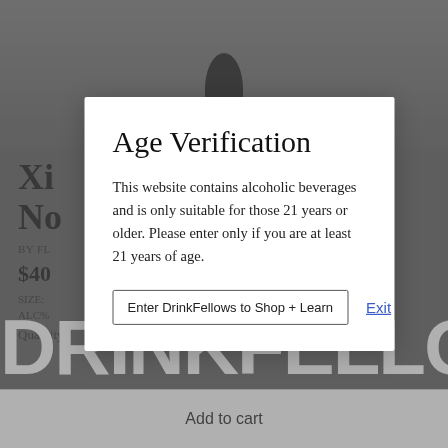[Figure (screenshot): Background page of a wine/spirits e-commerce website showing a bottle image at top, product title starting with 'X', price starting with '$40', size and alcohol info, quantity selector, DRINKFELLO branding, and an Add to Cart button, all dimmed behind a modal overlay]
Age Verification
This website contains alcoholic beverages and is only suitable for those 21 years or older. Please enter only if you are at least 21 years of age.
Enter DrinkFellows to Shop + Learn
Exit